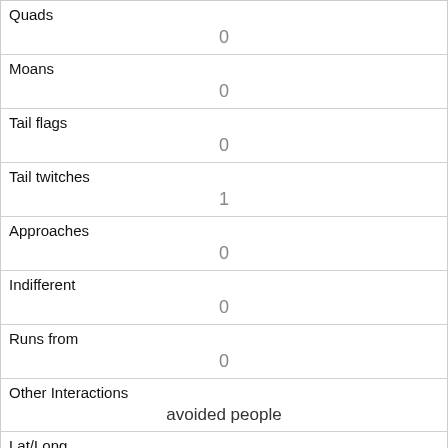| Quads | 0 |
| Moans | 0 |
| Tail flags | 0 |
| Tail twitches | 1 |
| Approaches | 0 |
| Indifferent | 0 |
| Runs from | 0 |
| Other Interactions | avoided people |
| Lat/Long | POINT (-73.9746229094643 40.7748467061969) |
| Link | 129 |